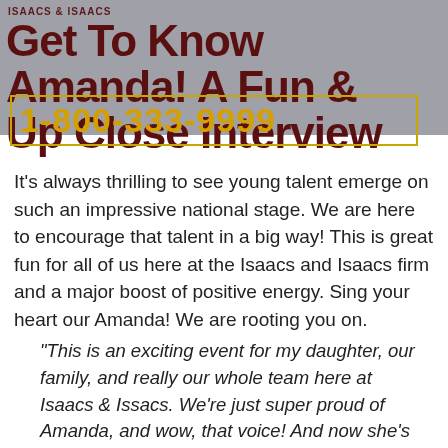ISAACS & ISAACS
Get To Know Amanda! A Fun & Up Close Interview
1-800-333-9999
It's always thrilling to see young talent emerge on such an impressive national stage. We are here to encourage that talent in a big way! This is great fun for all of us here at the Isaacs and Isaacs firm and a major boost of positive energy. Sing your heart our Amanda! We are rooting you on.
“This is an exciting event for my daughter, our family, and really our whole team here at Isaacs & Issacs. We’re just super proud of Amanda, and wow, that voice! And now she’s sharing it with the world in this great